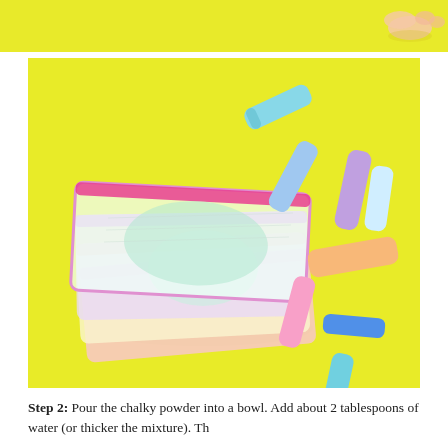[Figure (photo): Top partial photo showing a yellow background with a child's foot/toes visible at the right edge]
[Figure (photo): Photo of several ziplock bags filled with colorful chalky powder (pink, yellow, mint, lavender) arranged in a stack, surrounded by scattered pastel chalk pieces on a bright yellow background]
Step 2: Pour the chalky powder into a bowl. Add about 2 tablespoons of water (or thicker the mixture). Th...